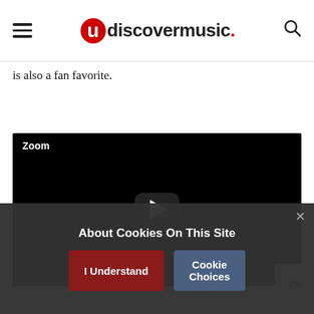uDiscoverMusic
is also a fan favorite.
[Figure (screenshot): Embedded video player with black background, white 'Zoom' label in top-left corner, and a play button in the center]
About Cookies On This Site
I Understand | Cookie Choices